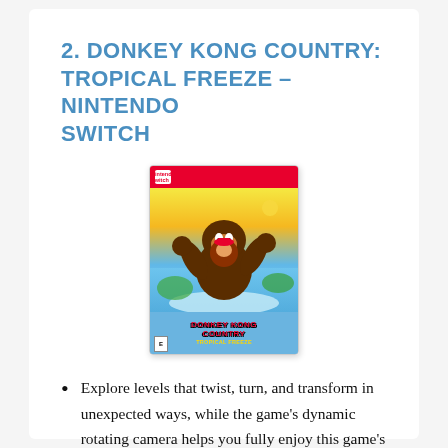2. DONKEY KONG COUNTRY: TROPICAL FREEZE – NINTENDO SWITCH
[Figure (photo): Nintendo Switch game box art for Donkey Kong Country: Tropical Freeze, featuring Donkey Kong and Diddy Kong characters on a colorful tropical island background with the game title at the bottom.]
Explore levels that twist, turn, and transform in unexpected ways, while the game's dynamic rotating camera helps you fully enjoy this game's diverse, vibrant islands.
Master a roster of friends...